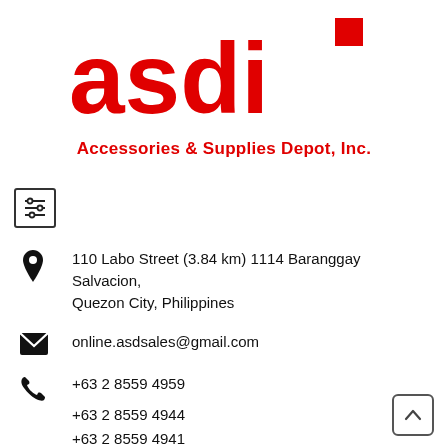[Figure (logo): ASDI logo — red bold letters 'asdi' with a red square dot above the 'i', and subtitle 'Accessories & Supplies Depot, Inc.' in red below]
110 Labo Street (3.84 km) 1114 Baranggay Salvacion, Quezon City, Philippines
online.asdsales@gmail.com
+63 2 8559 4959
+63 2 8559 4944
+63 2 8559 4941
+63 2 8293 1984
+63 2 7369 6867
+63 2 8516 2133